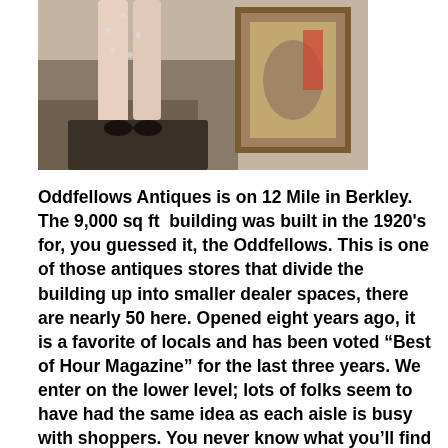[Figure (photo): Photo showing legs of a person in red high heels standing near antique items including a framed painting in a cluttered antique store setting]
Oddfellows Antiques is on 12 Mile in Berkley. The 9,000 sq ft  building was built in the 1920's for, you guessed it, the Oddfellows. This is one of those antiques stores that divide the building up into smaller dealer spaces, there are nearly 50 here. Opened eight years ago, it is a favorite of locals and has been voted “Best of Hour Magazine” for the last three years. We enter on the lower level; lots of folks seem to have had the same idea as each aisle is busy with shoppers. You never know what you’ll find in a store like this as the variety of items is wide. Kris and I